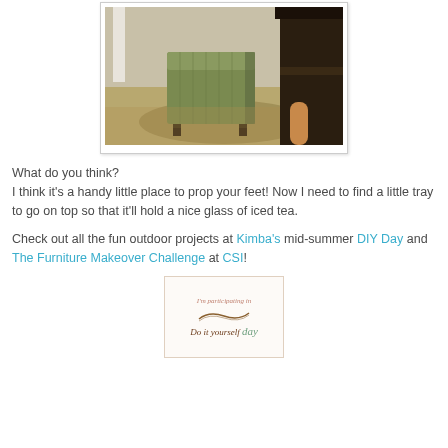[Figure (photo): Photo of a green upholstered ottoman in a living room setting with a dark fireplace surround in the background]
What do you think?
I think it's a handy little place to prop your feet! Now I need to find a little tray to go on top so that it'll hold a nice glass of iced tea.
Check out all the fun outdoor projects at Kimba's mid-summer DIY Day and The Furniture Makeover Challenge at CSI!
[Figure (illustration): Badge reading 'I'm participating in Do it yourself day']